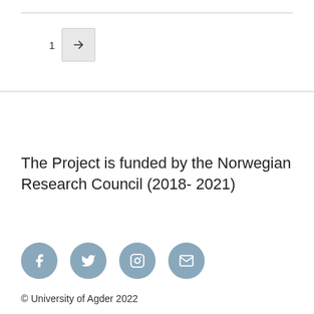1 →
The Project is funded by the Norwegian Research Council (2018- 2021)
[Figure (infographic): Four social media icon circles: Facebook (f), Twitter (bird), Instagram (camera), Email (envelope) in steel blue color]
© University of Agder 2022